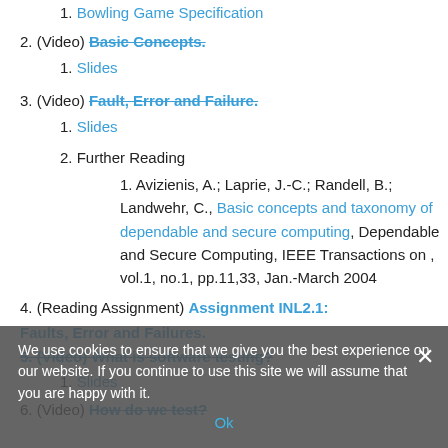1. Bowling Game Specification
2. (Video) Basic Concepts.
1. Slides
3. (Video) Fault, Error and Failure.
1. Slides
2. Further Reading
1. Avizienis, A.; Laprie, J.-C.; Randell, B.; Landwehr, C., Basic concepts and taxonomy of dependable and secure computing, Dependable and Secure Computing, IEEE Transactions on , vol.1, no.1, pp.11,33, Jan.-March 2004
4. (Reading Assignment) Assignment INL2.1: Faults, Error and Failures.
5. (Video) What is software testing?
1. Slides
6. (Video) How do we test?